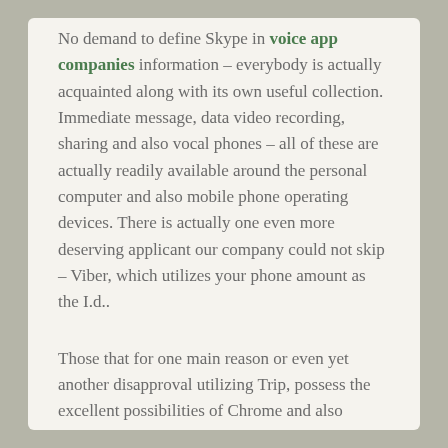No demand to define Skype in voice app companies information – everybody is actually acquainted along with its own useful collection. Immediate message, data video recording, sharing and also vocal phones – all of these are actually readily available around the personal computer and also mobile phone operating devices. There is actually one even more deserving applicant our company could not skip – Viber, which utilizes your phone amount as the I.d..
Those that for one main reason or even yet another disapproval utilizing Trip, possess the excellent possibilities of Chrome and also Dolphin. It is actually challenging to condition what is actually the ideal in the battle of internet browsers – everybody decides on for